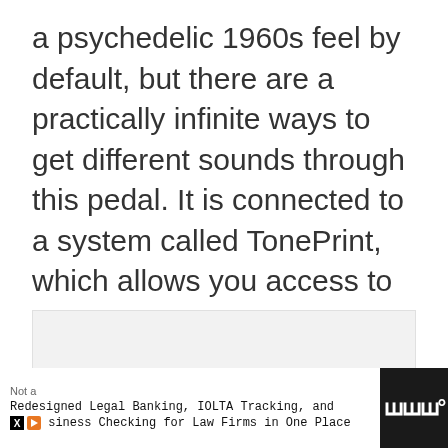a psychedelic 1960s feel by default, but there are a practically infinite ways to get different sounds through this pedal. It is connected to a system called TonePrint, which allows you access to everything from subtle nuanced tone shifters, to the biggest and fattest replicas of the tone of various famous guitarists from throughout history; Hendrix to Van Halen.
[Figure (other): Gray placeholder box for embedded content]
Not a
Redesigned Legal Banking, IOLTA Tracking, and
siness Checking for Law Firms in One Place